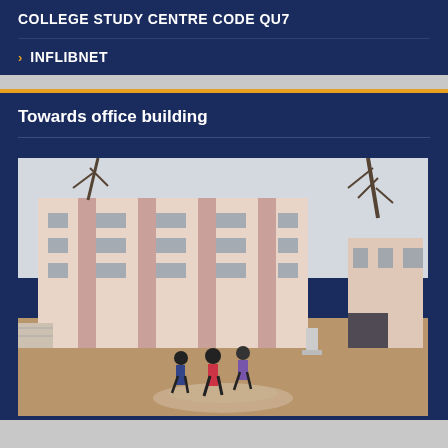COLLEGE STUDY CENTRE CODE QU7
INFLIBNET
Towards office building
[Figure (photo): Exterior view of a college office building with students walking on a path in the foreground. The building is multi-storey with pink and white columns and windows. Bare trees visible above.]